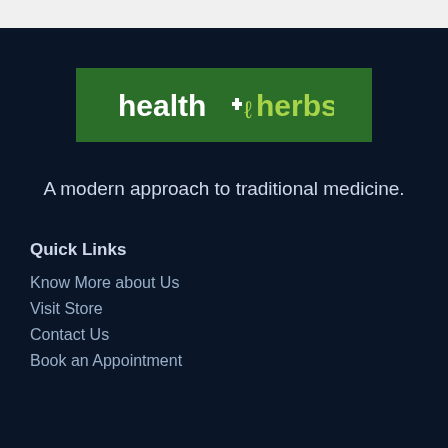[Figure (logo): health+herbs logo on green background]
A modern approach to traditional medicine.
Quick Links
Know More about Us
Visit Store
Contact Us
Book an Appointment